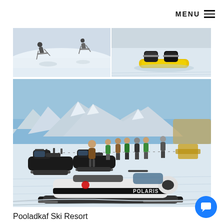MENU ☰
[Figure (photo): Two skiing/snowboarding action shots on a snowy slope — left shows a skier mid-air, right shows a close-up of a snowboarder's boots and yellow snowboard on snow]
[Figure (photo): Pooladkaf Ski Resort — wide shot of snowy mountain landscape with snowmobiles parked in the foreground, groups of people standing around, snow-covered mountains in background under blue sky]
Pooladkaf Ski Resort